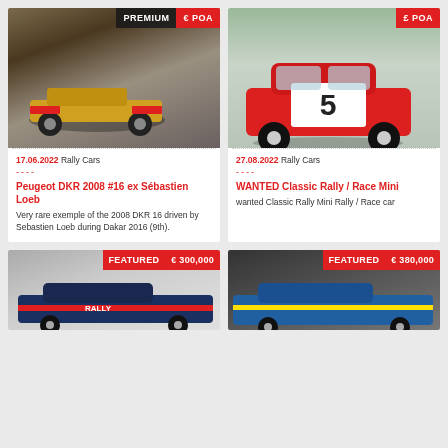[Figure (photo): Rally car driving on dusty terrain with PREMIUM badge and € POA price label]
17.06.2022 Rally Cars
----
Peugeot DKR 2008 #16 ex Sébastien Loeb
Very rare exemple of the 2008 DKR 16 driven by Sebastien Loeb during Dakar 2016 (9th).
[Figure (photo): Red Classic Mini rally car with number 5, £ POA price label]
27.08.2022 Rally Cars
----
WANTED Classic Rally / Race Mini
wanted Classic Rally Mini Rally / Race car
[Figure (photo): Rally car with FEATURED badge and € 300,000 price label]
[Figure (photo): Rally car with FEATURED badge and € 380,000 price label]